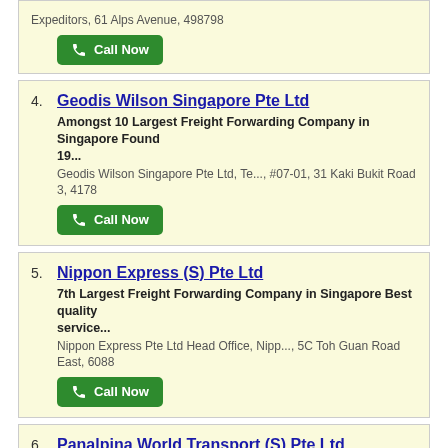Expeditors, 61 Alps Avenue, 498798
Call Now
4. Geodis Wilson Singapore Pte Ltd
Amongst 10 Largest Freight Forwarding Company in Singapore Found 19...
Geodis Wilson Singapore Pte Ltd, Te..., #07-01, 31 Kaki Bukit Road 3, 4178
Call Now
5. Nippon Express (S) Pte Ltd
7th Largest Freight Forwarding Company in Singapore Best quality service...
Nippon Express Pte Ltd Head Office, Nipp..., 5C Toh Guan Road East, 6088
Call Now
6. Panalpina World Transport (S) Pte Ltd
6th Largest Freight Forwarding Company in Singapore Globally, the worlds...
Panalpina World Transport, 16 Changi North Way, 498772
Call Now
7. Kuehne + Nagel Pte Ltd
2nd Largest Freight Forwarding Company in Singapore Kuehne + Nag